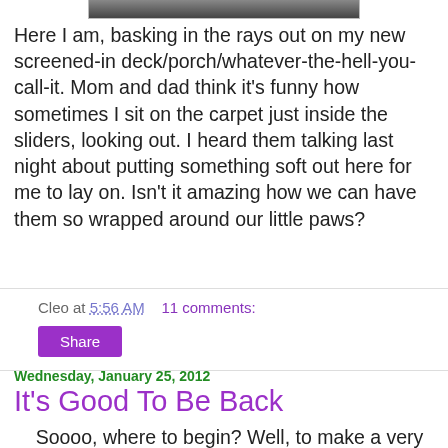[Figure (photo): Top portion of a photo, dark/gray image strip]
Here I am, basking in the rays out on my new screened-in deck/porch/whatever-the-hell-you-call-it. Mom and dad think it's funny how sometimes I sit on the carpet just inside the sliders, looking out.  I heard them talking last night about putting something soft out here for me to lay on.  Isn't it amazing how we can have them so wrapped around our little paws?
Cleo at 5:56 AM    11 comments:
Share
Wednesday, January 25, 2012
It's Good To Be Back
Soooo, where to begin?  Well, to make a very long (boring) story short (readable), mom and dad got away from that... place (dump). After searching high